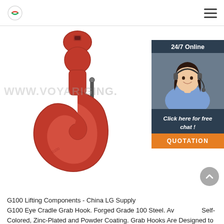Logo and navigation menu
[Figure (photo): Red G100 Eye Cradle Grab Hook, forged steel, photographed on white background with watermark WWW.VOYARIGING. and a 24/7 online chat widget overlay showing a female customer service agent with headset, 'Click here for free chat!' text, and an orange QUOTATION button.]
G100 Lifting Components - China LG Supply
G100 Eye Cradle Grab Hook. Forged Grade 100 Steel. Available in Self-Colored, Zinc-Plated and Powder Coating. Grab Hooks Are Designed to Grab a Chain Link and Hold it in Place. Ultimate Load is 4 Times the Working Load Limit. Read More.